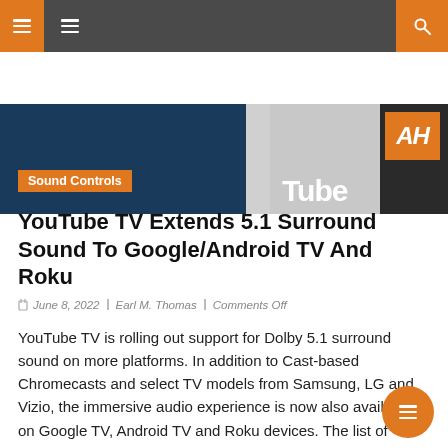Navigation bar with hamburger menu and search icon
[Figure (photo): Hero image showing YouTube branding with blue background and AH logo badge in orange, with partial 'Tube' text visible]
Sound Controls
YouTube TV Extends 5.1 Surround Sound To Google/Android TV And Roku
June 8, 2022  Earl M. Thomas  Comments Off
YouTube TV is rolling out support for Dolby 5.1 surround sound on more platforms. In addition to Cast-based Chromecasts and select TV models from Samsung, LG and Vizio, the immersive audio experience is now also available on Google TV, Android TV and Roku devices. The list of supported devices includes Chromecast with Google TV.
Google originally announced Dolby 5.1 surround sound for YouTube TV in June last year. The company rolled out the feature to traditional Chromecasts and Samsung, LG and